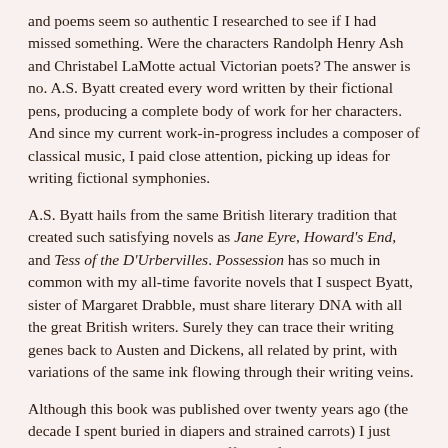and poems seem so authentic I researched to see if I had missed something.  Were the characters Randolph Henry Ash and Christabel LaMotte actual Victorian poets?  The answer is no.  A.S. Byatt created every word written by their fictional pens, producing a complete body of work for her characters.  And since my current work-in-progress includes a composer of classical music, I paid close attention, picking up ideas for writing fictional symphonies.
A.S. Byatt hails from the same British literary tradition that created such satisfying novels as Jane Eyre, Howard's End, and Tess of the D'Urbervilles.  Possession has so much in common with my all-time favorite novels that I suspect Byatt, sister of Margaret Drabble, must share literary DNA with all the great British writers.  Surely they can trace their writing genes back to Austen and Dickens, all related by print, with variations of the same ink flowing through their writing veins.
Although this book was published over twenty years ago (the decade I spent buried in diapers and strained carrots) I just read it this summer.  I pulled it off a shelf in a used book store, an act reminiscent of reaching into my grandfather's bookshelves, and, like finding wonderful new books in the expansive summer days of